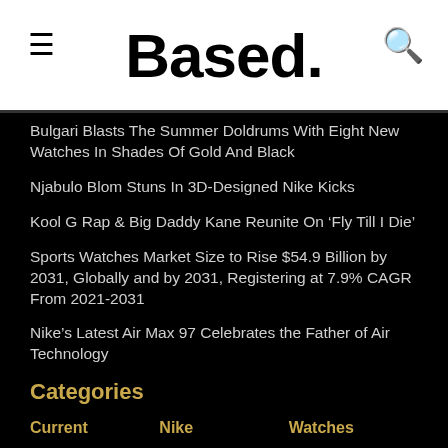Based.
Bulgari Blasts The Summer Doldrums With Eight New Watches In Shades Of Gold And Black
Njabulo Blom Stuns In 3D-Designed Nike Kicks
Kool G Rap & Big Daddy Kane Reunite On ‘Fly Till I Die’
Sports Watches Market Size to Rise $54.9 Billion by 2031, Globally and by 2031, Registering at 7.9% CAGR From 2021-2031
Nike’s Latest Air Max 97 Celebrates the Father of Air Technology
Categories
Current
Nike
Watches
Hip Hop
Rap
Jordan
Streetwear